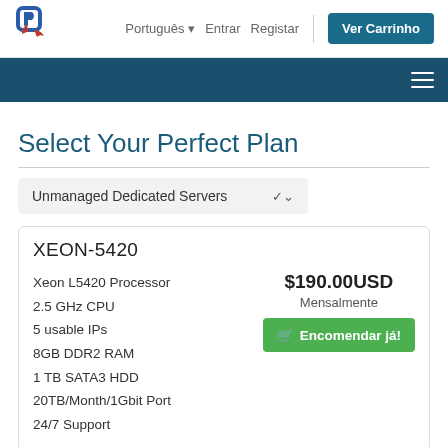[Figure (logo): Company logo with stylized P letters in blue and red]
Português  Entrar  Registar  Ver Carrinho
Navigation menu bar (dark blue with hamburger icon)
Select Your Perfect Plan
Unmanaged Dedicated Servers
XEON-5420
Xeon L5420 Processor
2.5 GHz CPU
5 usable IPs
8GB DDR2 RAM
1 TB SATA3 HDD
20TB/Month/1Gbit Port
24/7 Support
$190.00USD Mensalmente
Encomendar já!